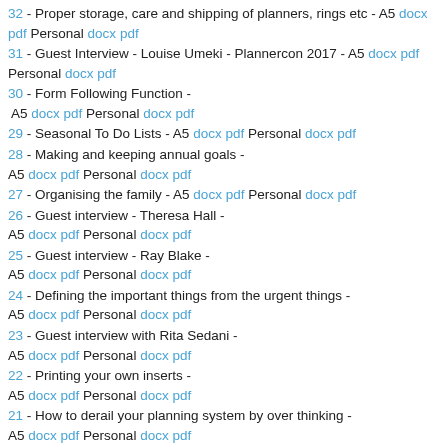32 - Proper storage, care and shipping of planners, rings etc - A5 docx pdf  Personal docx pdf
31 - Guest Interview - Louise Umeki - Plannercon 2017 - A5 docx pdf  Personal docx pdf
30 - Form Following Function - A5 docx pdf  Personal docx pdf
29 - Seasonal To Do Lists - A5 docx pdf  Personal docx pdf
28 - Making and keeping annual goals - A5 docx pdf  Personal docx pdf
27 - Organising the family - A5 docx pdf  Personal docx pdf
26 - Guest interview - Theresa Hall - A5 docx pdf  Personal docx pdf
25 - Guest interview - Ray Blake - A5 docx pdf  Personal docx pdf
24 - Defining the important things from the urgent things - A5 docx pdf  Personal docx pdf
23 - Guest interview with Rita Sedani - A5 docx pdf  Personal docx pdf
22 - Printing your own inserts - A5 docx pdf  Personal docx pdf
21 - How to derail your planning system by over thinking - A5 docx pdf  Personal docx pdf
20 - Digital devices/services and your analogue...